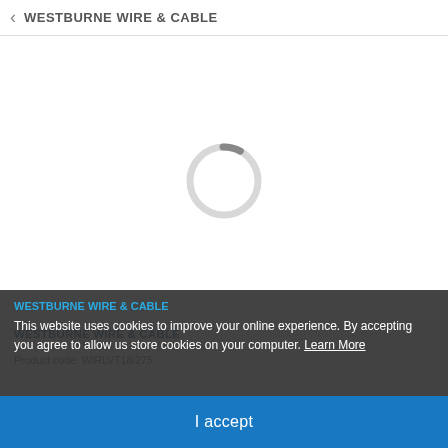WESTBURNE WIRE & CABLE
[Figure (other): Loading spinner — circular progress indicator, mostly light gray ring with a small dark gray arc segment at the top-right, indicating a page loading state]
WESTBURNE WIRE & CABLE
LVT/2/1X14THERMOSATMRE/SM
Product code: WIRLVT18/275
This website uses cookies to improve your online experience. By accepting you agree to allow us store cookies on your computer. Learn More
I accept